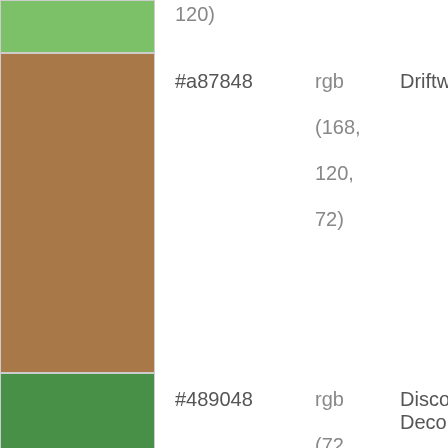| Color | Hex | RGB | Name |
| --- | --- | --- | --- |
|  | #a87848 | rgb (168, 120, 72) | Driftwood |
|  | #489048 | rgb (72, 144, 72) | Discover Deco |
|  | #c09060 | rgb (192, 144, 96) | Mid Tan |